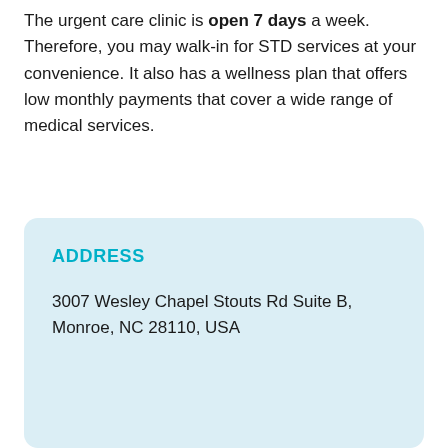The urgent care clinic is open 7 days a week. Therefore, you may walk-in for STD services at your convenience. It also has a wellness plan that offers low monthly payments that cover a wide range of medical services.
ADDRESS
3007 Wesley Chapel Stouts Rd Suite B, Monroe, NC 28110, USA